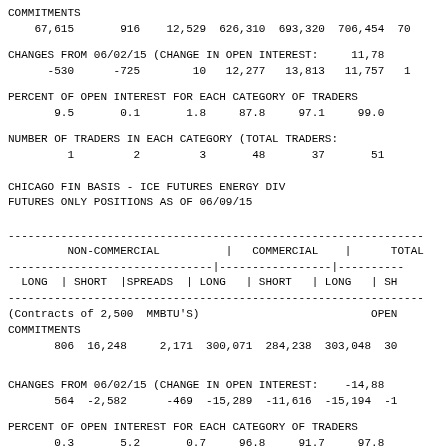COMMITMENTS
67,615       916    12,529  626,310  693,320  706,454  70
CHANGES FROM 06/02/15 (CHANGE IN OPEN INTEREST:     11,78
-530      -725        10   12,277   13,813   11,757   1
PERCENT OF OPEN INTEREST FOR EACH CATEGORY OF TRADERS
9.5       0.1       1.8     87.8     97.1     99.0
NUMBER OF TRADERS IN EACH CATEGORY (TOTAL TRADERS:
1         2         3       48       37       51
CHICAGO FIN BASIS - ICE FUTURES ENERGY DIV
FUTURES ONLY POSITIONS AS OF 06/09/15
| NON-COMMERCIAL | COMMERCIAL | TOTAL |
| --- | --- | --- |
| LONG | SHORT |SPREADS | | LONG | SHORT | | LONG | SH |
| (Contracts of 2,500  MMBTU'S) |  | OPEN |
| COMMITMENTS |  |  |
| 806  16,248     2,171  300,071  284,238  303,048  30 |  |  |
| CHANGES FROM 06/02/15 (CHANGE IN OPEN INTEREST:    -14,88 |  |  |
| 564  -2,582      -469  -15,289  -11,616  -15,194  -1 |  |  |
| PERCENT OF OPEN INTEREST FOR EACH CATEGORY OF TRADERS |  |  |
| 0.3       5.2       0.7     96.8     91.7     97.8 |  |  |
NUMBER OF TRADERS IN EACH CATEGORY (TOTAL TRADERS: